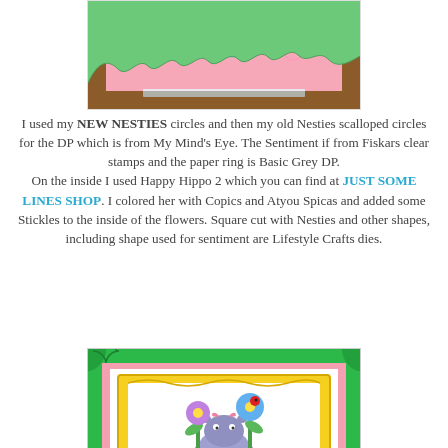[Figure (photo): Top portion of a handmade card showing pink patterned paper with green decorative scalloped die-cut border on top, displayed on a wooden surface.]
I used my NEW NESTIES circles and then my old Nesties scalloped circles for the DP which is from My Mind's Eye. The Sentiment if from Fiskars clear stamps and the paper ring is Basic Grey DP.
On the inside I used Happy Hippo 2 which you can find at JUST SOME LINES SHOP. I colored her with Copics and Atyou Spicas and added some Stickles to the inside of the flowers. Square cut with Nesties and other shapes, including shape used for sentiment are Lifestyle Crafts dies.
[Figure (photo): Bottom photo showing a handmade card with green die-cut decorative frame, pink border, yellow ornate inner frame on white, featuring a colored hippo image with flowers (purple and blue) and a ladybug. Watermark text reads 'Just Some Lines Shop'.]